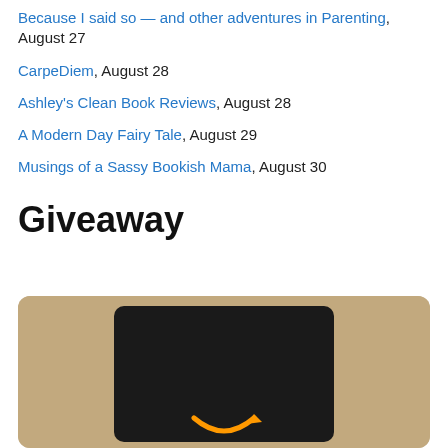Because I said so — and other adventures in Parenting, August 27
CarpeDiem, August 28
Ashley's Clean Book Reviews, August 28
A Modern Day Fairy Tale, August 29
Musings of a Sassy Bookish Mama, August 30
Giveaway
[Figure (photo): Amazon gift card on a wooden surface background, showing a dark card with Amazon logo (orange arrow smile) visible at bottom]